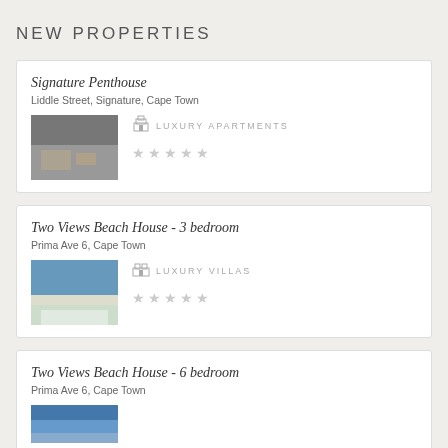NEW PROPERTIES
Signature Penthouse
Liddle Street, Signature, Cape Town
[Figure (photo): Interior photo of a luxury penthouse apartment with modern furniture]
LUXURY APARTMENTS
Two Views Beach House - 3 bedroom
Prima Ave 6, Cape Town
[Figure (photo): Photo of a beach house with pool and ocean view]
LUXURY VILLAS
Two Views Beach House - 6 bedroom
Prima Ave 6, Cape Town
[Figure (photo): Photo of beach house exterior]